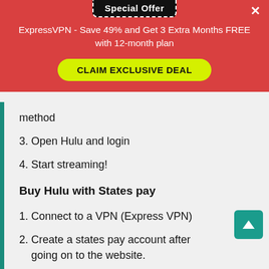Special Offer
ExpressVPN - Save 49% and Get 3 Extra Months FREE with 12-month plan
CLAIM EXCLUSIVE DEAL
method
3. Open Hulu and login
4. Start streaming!
Buy Hulu with States pay
1. Connect to a VPN (Express VPN)
2. Create a states pay account after going on to the website.
3. Connect to a US-based server.